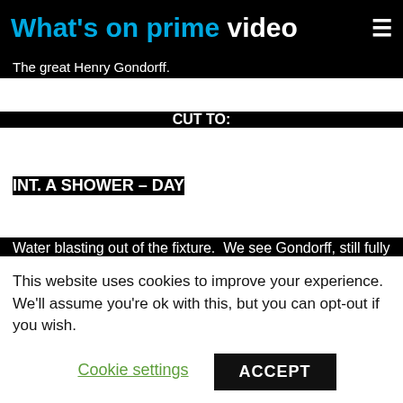What's on prime video
The great Henry Gondorff.
CUT TO:
INT. A SHOWER – DAY
Water blasting out of the fixture.  We see Gondorff, still fully clothed, sitting in the bottom of the shower, the
This website uses cookies to improve your experience. We'll assume you're ok with this, but you can opt-out if you wish.
Cookie settings
ACCEPT